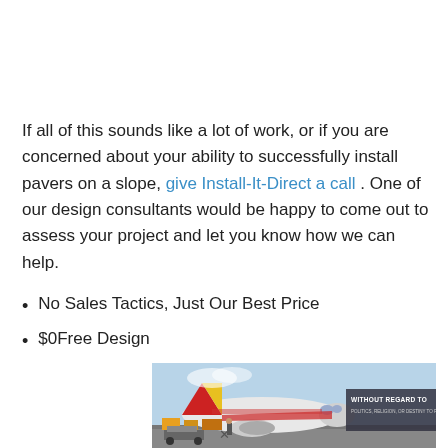If all of this sounds like a lot of work, or if you are concerned about your ability to successfully install pavers on a slope, give Install-It-Direct a call . One of our design consultants would be happy to come out to assess your project and let you know how we can help.
No Sales Tactics, Just Our Best Price
$0Free Design
[Figure (photo): Advertisement banner showing an airplane being loaded with cargo on a tarmac, with a dark overlay box containing text 'WITHOUT REGARD TO POLITICS, RELIGION, OR DESTINY TO PAY.']